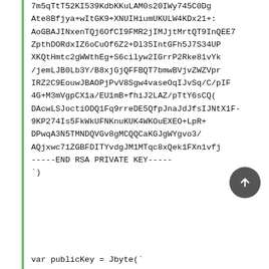7m5qTtT52KI539KdbKKuLAM0s20IWy745C0Dg
Ate8Bfjya+wItGK9+XNUIHiumUKULW4KDx21+:
AoGBAJINxenTQj6OfCI9FMR2jIMJjtMrtQT9InQEE7
ZpthDORdxIZ6oCuOf6Z2+Dl35IntGFh5J7S34UP
XKQtHmtc2gWWthEg+S6cilyw2IGrrP2Rke81vYk
/jemLJB0Lb3Y/B8xjGjQFFBQT7bmwBVjvZWZVpr
IRZ2C9EouwJBAOPjPvV8Sgw4vaseOqIJvSq/C/pIF
4G+M3mVgpCX1a/EU1mB+fhiJ2LAZ/pTtY6sCQ(
DAcwLSJoctiODQ1Fq9rreDE5QfpJnaJdJfsIJNtX1F-
9KP274Is5FkWkUFNKnuKUK4WKOuEXEO+LpR+
DPwqA3N5TMNDQVGv8gMCQQCaKGJgWYgvo3/
AQjxwc71ZGBFDITYvdgJM1MTqc8xQek1FXn1vfj
-----END RSA PRIVATE KEY-----
`)
var publicKey = Jbyte(`